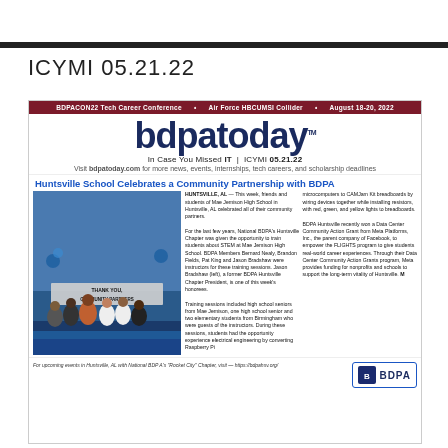ICYMI 05.21.22
[Figure (screenshot): Screenshot of bdpatoday newsletter issue ICYMI 05.21.22. Header bar reads: BDPACON22 Tech Career Conference • Air Force HBCUMSI Collider • August 18-20, 2022. Large logo text: bdpatoday. Tagline: In Case You Missed IT | ICYMI 05.21.22. Visit bdpatoday.com for more news, events, internships, tech careers, and scholarship deadlines. Article headline: Huntsville School Celebrates a Community Partnership with BDPA. Body with photo of group of people at Mae Jemison High School with 'THANK YOU COMMUNITY PARTNERS' banner. Two columns of article text and BDPA logo at bottom right.]